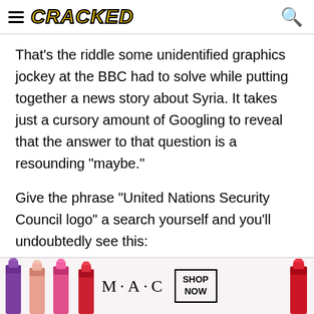CRACKED
That's the riddle some unidentified graphics jockey at the BBC had to solve while putting together a news story about Syria. It takes just a cursory amount of Googling to reveal that the answer to that question is a resounding "maybe."
Give the phrase "United Nations Security Council logo" a search yourself and you'll undoubtedly see this:
[Figure (photo): MAC cosmetics advertisement banner showing lipsticks, MAC logo, and SHOP NOW button]